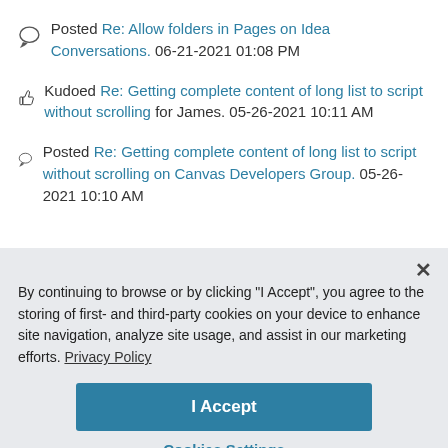Posted Re: Allow folders in Pages on Idea Conversations. 06-21-2021 01:08 PM
Kudoed Re: Getting complete content of long list to script without scrolling for James. 05-26-2021 10:11 AM
Posted Re: Getting complete content of long list to script without scrolling on Canvas Developers Group. 05-26-2021 10:10 AM
By continuing to browse or by clicking "I Accept", you agree to the storing of first- and third-party cookies on your device to enhance site navigation, analyze site usage, and assist in our marketing efforts. Privacy Policy
I Accept
Cookies Settings